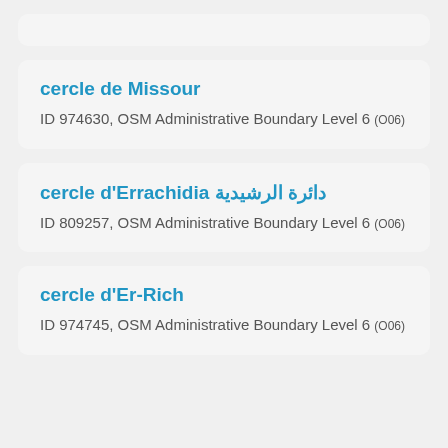(partial card at top)
cercle de Missour
ID 974630, OSM Administrative Boundary Level 6 (O06)
cercle d'Errachidia دائرة الرشيدية
ID 809257, OSM Administrative Boundary Level 6 (O06)
cercle d'Er-Rich
ID 974745, OSM Administrative Boundary Level 6 (O06)